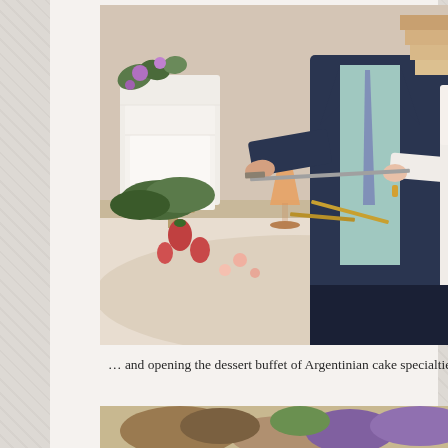[Figure (photo): A couple cutting a wedding cake at a dessert table. The groom wears a navy suit with a light blue tie, and the bride wears white lace. There is a white tiered wedding cake with greenery and purple flowers on a wooden stand, and an orange cocktail in a champagne flute on the table with desserts and flowers.]
… and opening the dessert buffet of Argentinian cake specialties
[Figure (photo): Bottom portion of another photo showing desserts or flowers, partially visible at the bottom of the page.]